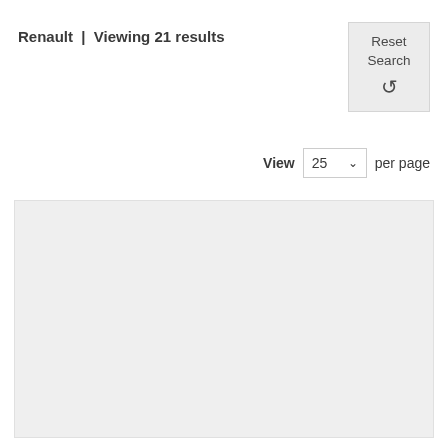Renault  |  Viewing 21 results
[Figure (screenshot): Reset Search button with a circular arrow icon]
View  25  per page
[Figure (screenshot): Light gray empty content area/panel]